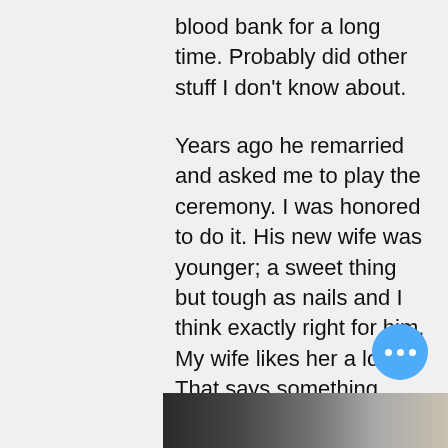blood bank for a long time. Probably did other stuff I don't know about.
Years ago he remarried and asked me to play the ceremony. I was honored to do it. His new wife was younger; a sweet thing but tough as nails and I think exactly right for him. My wife likes her a lot. That says something.
I suspect she was instrumental in a come-to-Jesus moment for Terry. Love will make you do strange things.
He's still a connoisseur of fine distilled spirits, however. Jesus probably is too, it's just not widely known.
[Figure (photo): Partial photo strip visible at the bottom of the page showing a dark indoor scene]